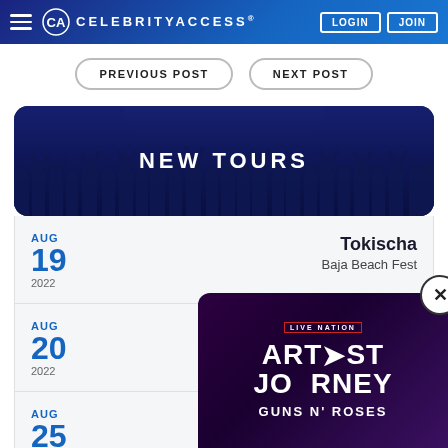CELEBRITYACCESS® — LOGIN | JOIN
PREVIOUS POST
NEXT POST
[Figure (illustration): NEW TOURS banner with crowd silhouette background]
AUG 19 2022 — Tokischa — Baja Beach Fest
AUG 20 2022 — Rob Snyder
AUG 25 2022
[Figure (screenshot): Live Nation Artist Journey popup featuring Guns N' Roses with close button]